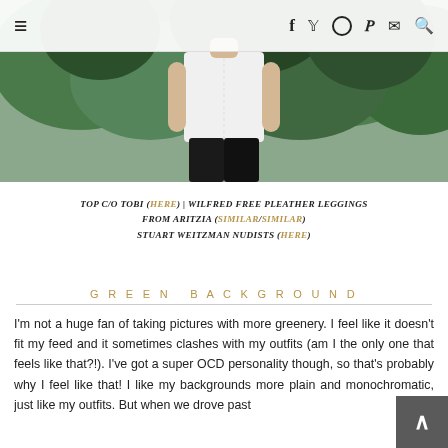navigation bar with hamburger menu and social icons: f (Facebook), bird (Twitter), circle (Instagram), P (Pinterest), envelope (email), search
[Figure (photo): Fashion blog photo showing a person from torso down wearing a white top and black pleather leggings, with green foliage in the background]
TOP C/O TOBI (HERE) | WILFRED FREE PLEATHER LEGGINGS FROM ARITZIA (SIMILAR/SIMILAR) STUART WEITZMAN NUDISTS (HERE)
GREEN BACKGROUND
I'm not a huge fan of taking pictures with more greenery. I feel like it doesn't fit my feed and it sometimes clashes with my outfits (am I the only one that feels like that?!). I've got a super OCD personality though, so that's probably why I feel like that! I like my backgrounds more plain and monochromatic, just like my outfits. But when we drove past this...